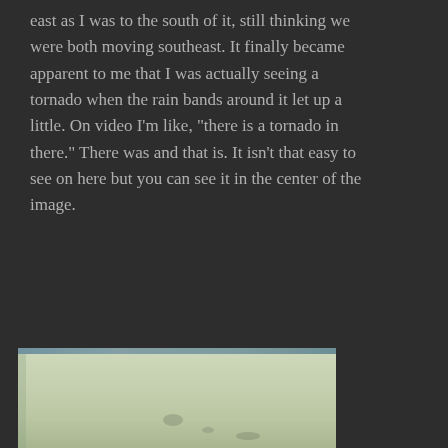east as I was to the south of it, still thinking we were both moving southeast. It finally became apparent to me that I was actually seeing a tornado when the rain bands around it let up a little. On video I'm like, "there is a tornado in there." There was and that is. It isn't that easy to see on here but you can see it in the center of the image.
[Figure (photo): A hazy, low-contrast photograph showing a pale greenish-grey sky and flat landscape, taken from a vehicle, showing what appears to be a tornado obscured by rain bands in the center of the image.]